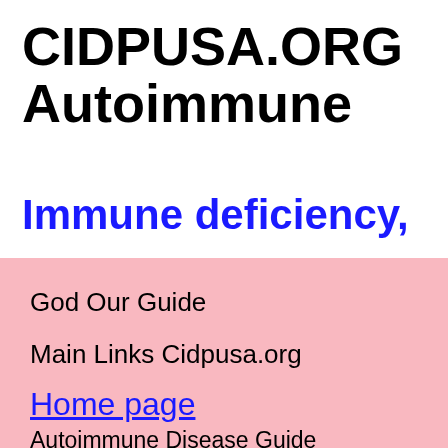CIDPUSA.ORG Autoimmune
Immune deficiency,
God Our Guide
Main Links Cidpusa.org
Home page
Autoimmune Disease Guide